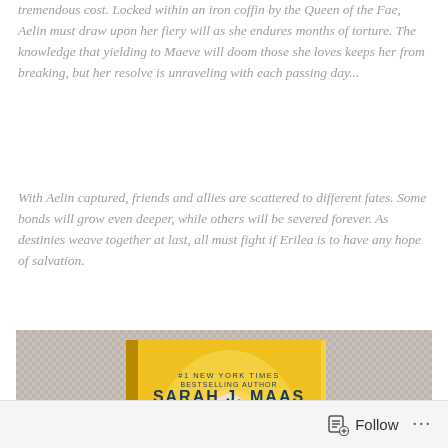tremendous cost. Locked within an iron coffin by the Queen of the Fae, Aelin must draw upon her fiery will as she endures months of torture. The knowledge that yielding to Maeve will doom those she loves keeps her from breaking, but her resolve is unraveling with each passing day...
With Aelin captured, friends and allies are scattered to different fates. Some bonds will grow even deeper, while others will be severed forever. As destinies weave together at last, all must fight if Erilea is to have any hope of salvation.
[Figure (photo): Photo of a hardcover book with a yellow cover showing a warrior with white hair and a sword. The cover reads '#1 New York Times Bestselling Author Sarah J. Maas'. The book is lying on a woven grey textile surface.]
Follow ···